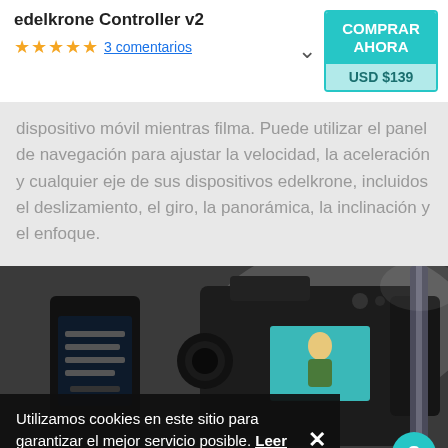edelkrone Controller v2
★★★★★ 3 comentarios
COMPRAR AHORA
USD $139
dispositivo móvil mientras filma. Puede utilizar el panel de navegación para ajustar la velocidad, la aceleración y cualquier eje de sus dispositivos edelkrone, incluidos el deslizamiento, el giro, la panorámica, la inclinación y el enfoque.
[Figure (photo): Close-up photo of a camera and edelkrone controller device being held, with camera LCD screen visible.]
Utilizamos cookies en este sitio para garantizar el mejor servicio posible. Leer más
0:00